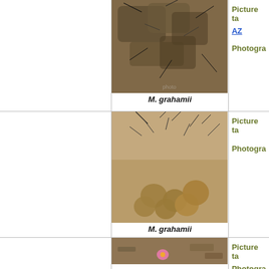[Figure (photo): Close-up photo of Mammillaria grahamii cactus with spines, overhead view on rocky ground]
M. grahamii
Picture ta... AZ
Photogra...
[Figure (photo): Mammillaria grahamii cactus cluster showing multiple round tubercled heads on sandy ground]
M. grahamii
Picture ta...
Photogra...
[Figure (photo): Mammillaria grahamii cactus with a single pink flower blooming, surrounded by desert debris]
Picture ta...
Photogra...